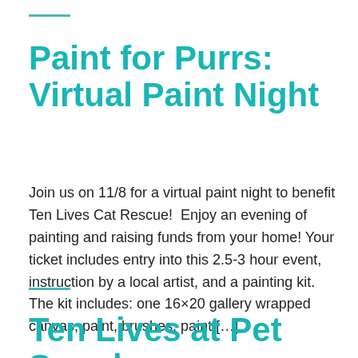Paint for Purrs: Virtual Paint Night
Join us on 11/8 for a virtual paint night to benefit Ten Lives Cat Rescue!  Enjoy an evening of painting and raising funds from your home! Your ticket includes entry into this 2.5-3 hour event, instruction by a local artist, and a painting kit. The kit includes: one 16×20 gallery wrapped canvas, paint, brushes, paint [...]
Ten Lives at Pet Supply